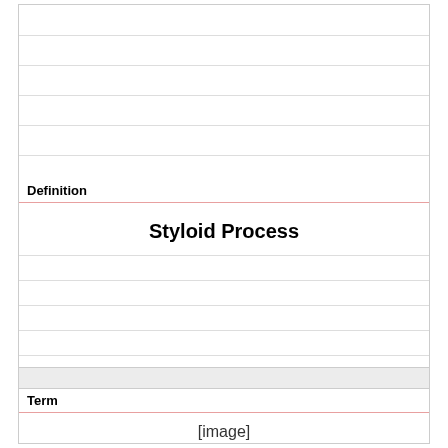Definition
Styloid Process
Term
[Figure (other): [image] placeholder for an anatomical image related to Styloid Process]